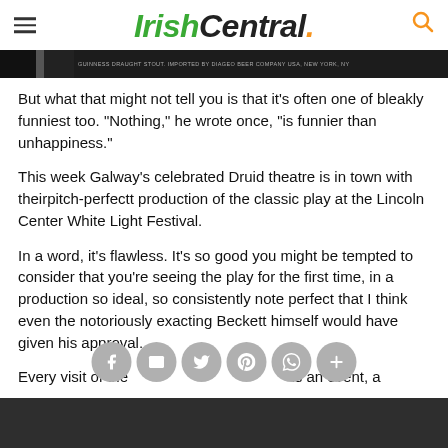IrishCentral.
[Figure (photo): Advertisement banner strip with dark background and Guinness Draught Stout text]
But what that might not tell you is that it's often one of bleakly funniest too. "Nothing," he wrote once, "is funnier than unhappiness."
This week Galway's celebrated Druid theatre is in town with theirpitch-perfectt production of the classic play at the Lincoln Center White Light Festival.
In a word, it's flawless. It's so good you might be tempted to consider that you're seeing the play for the first time, in a production so ideal, so consistently note perfect that I think even the notoriously exacting Beckett himself would have given his approval.
Every visit of the Druid theatre to New York is an event, a